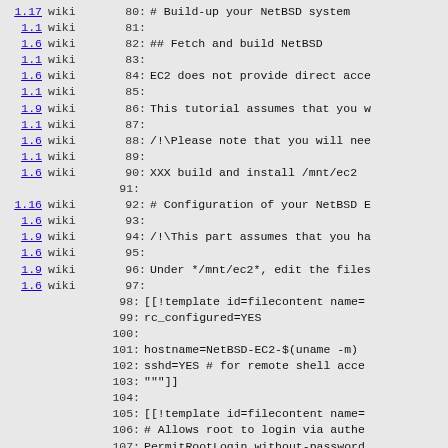Source code listing showing wiki revision annotations with line numbers 80-109, including NetBSD EC2 configuration content